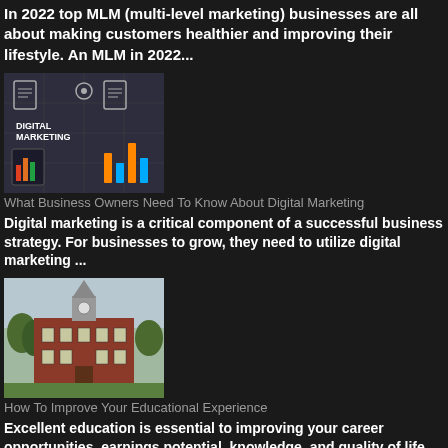In 2022 top MLM (multi-level marketing) businesses are all about making customers healthier and improving their lifestyle. An MLM in 2022...
[Figure (photo): Digital Marketing thumbnail image with icons and bar chart on dark/gray background with text DIGITAL MARKETING]
What Business Owners Need To Know About Digital Marketing
Digital marketing is a critical component of a successful business strategy. For businesses to grow, they need to utilize digital marketing ...
[Figure (photo): Photo of a historic brick school or university building with white tower/steeple, taken in autumn]
How To Improve Your Educational Experience
Excellent education is essential to improving your career opportunities, earnings potential, knowledge, and quality of life. You want to fin...
[Figure (photo): Photo of people in an office or meeting setting with digital network/connectivity graphics overlay]
Most Common Cyber Security Measures In 2022...